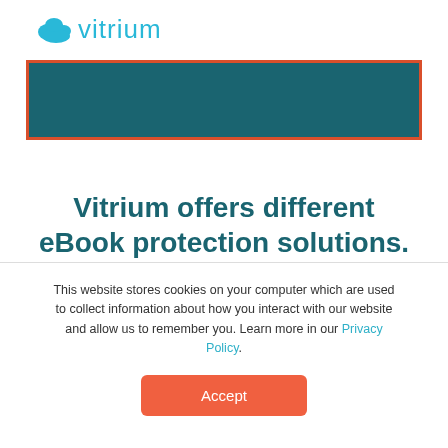[Figure (logo): Vitrium logo with cyan cloud icon and 'vitrium' text in cyan]
[Figure (other): Dark teal/green banner with orange-red border]
Vitrium offers different eBook protection solutions. All solutions include these great
This website stores cookies on your computer which are used to collect information about how you interact with our website and allow us to remember you. Learn more in our Privacy Policy.
Accept